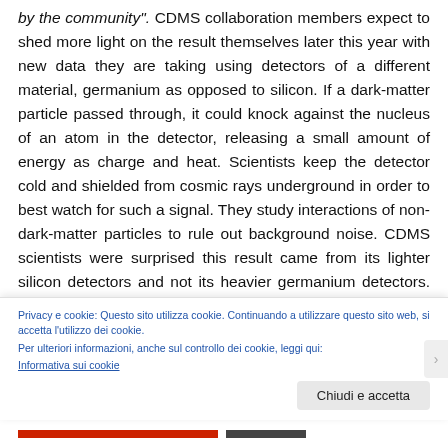by the community". CDMS collaboration members expect to shed more light on the result themselves later this year with new data they are taking using detectors of a different material, germanium as opposed to silicon. If a dark-matter particle passed through, it could knock against the nucleus of an atom in the detector, releasing a small amount of energy as charge and heat. Scientists keep the detector cold and shielded from cosmic rays underground in order to best watch for such a signal. They study interactions of non-dark-matter particles to rule out background noise. CDMS scientists were surprised this result came from its lighter silicon detectors and not its heavier germanium detectors. When they designed their
Privacy e cookie: Questo sito utilizza cookie. Continuando a utilizzare questo sito web, si accetta l'utilizzo dei cookie.
Per ulteriori informazioni, anche sul controllo dei cookie, leggi qui:
Informativa sui cookie
Chiudi e accetta